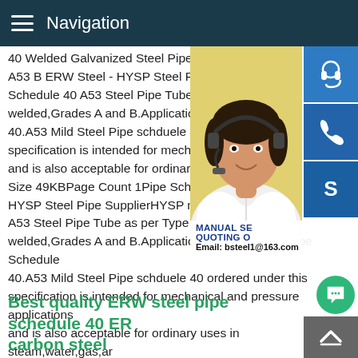Navigation
40 Welded Galvanized Steel Pipe GI Pipe A53 B ERW Steel - HYSP Steel PipeHYSP Schedule 40 A53 Steel Pipe Tube as per Type E welded,Grades A and B.Application of A53 40.A53 Mild Steel Pipe schduele 40 ordered specification is intended for mechanical and and is also acceptable for ordinary uses in Size 49KBPage Count 1Pipe Schedule 40 HYSP Steel Pipe SupplierHYSP manufactures A53 Steel Pipe Tube as per Type EElectric welded,Grades A and B.Application of A53 Carbon Pipe Schedule 40.A53 Mild Steel Pipe schduele 40 ordered under this specification is intended for mechanical and pressure applications and is also acceptable for ordinary uses in steam,water,gas,ar
[Figure (photo): Customer service representative woman with headset on yellow/cream background, with blue icon buttons for chat, phone, and Skype, and an overlay showing MANUAL SE... QUOTING O... Email: bsteel1@163.com]
Best quality ERW steel pipe schedule 40 ERW carbon steel